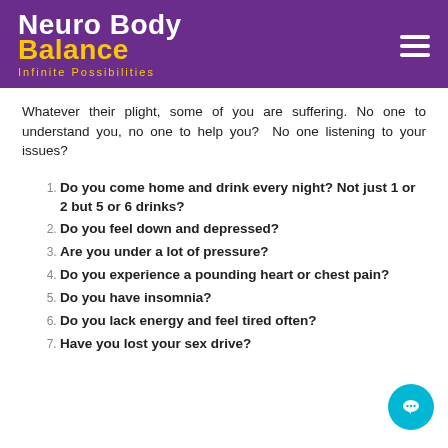Neuro Body Balance — Infinite Possibilities
Whatever their plight, some of you are suffering. No one to understand you, no one to help you?  No one listening to your issues?
Do you come home and drink every night? Not just 1 or 2 but 5 or 6 drinks?
Do you feel down and depressed?
Are you under a lot of pressure?
Do you experience a pounding heart or chest pain?
Do you have insomnia?
Do you lack energy and feel tired often?
Have you lost your sex drive?